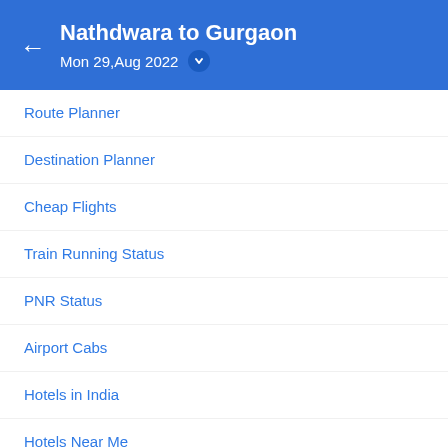Nathdwara to Gurgaon
Mon 29,Aug 2022
Route Planner
Destination Planner
Cheap Flights
Train Running Status
PNR Status
Airport Cabs
Hotels in India
Hotels Near Me
Popular Airlines
IRCTC Forgot UserID
IRCTC Forgot Password
Goibibo Advertising Solutions